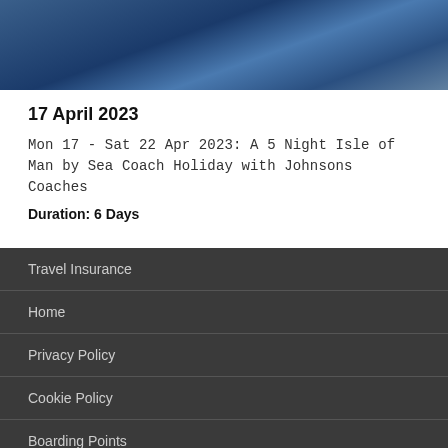[Figure (photo): Blue ocean/sea water texture image strip at the top of the page]
17 April 2023
Mon 17 - Sat 22 Apr 2023: A 5 Night Isle of Man by Sea Coach Holiday with Johnsons Coaches
Duration: 6 Days
Travel Insurance
Home
Privacy Policy
Cookie Policy
Boarding Points
Desktop View